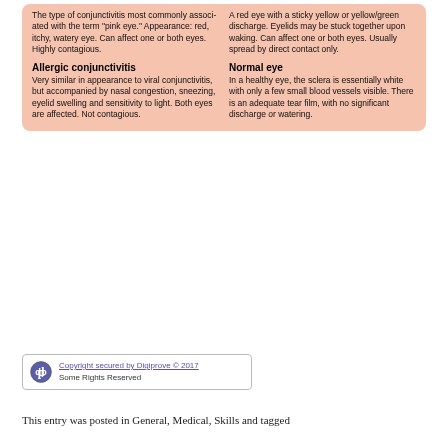The type of conjunctivitis most commonly associated with the term 'pink eye.' Appearance: red, itchy, watery eye. Can affect one or both eyes. Highly contagious.
A red eye with a sticky yellow or yellow/green discharge. Eyelids may be stuck together upon waking. Can affect one or both eyes. Usually spread by direct contact only.
Allergic conjunctivitis
Very similar in appearance to viral conjunctivitis, but accompanied by nasal congestion, sneezing, eyelid swelling and sensitivity to light. Both eyes are affected. Not contagious.
Normal eye
In a healthy eye, the sclera is essentially white with only a few small blood vessels visible. There is an adequate tear film, with no significant discharge or watering.
Copyright secured by Digiprove © 2017
Some Rights Reserved
This entry was posted in General, Medical, Skills and tagged